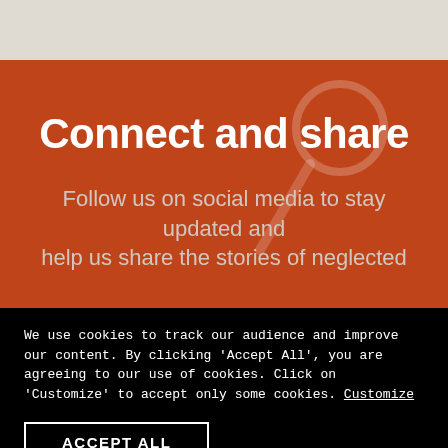[Figure (illustration): Light beige/gray top bar background strip]
Connect and share
Follow us on social media to stay updated and help us share the stories of neglected
We use cookies to track our audience and improve our content. By clicking ‘Accept All’, you are agreeing to our use of cookies. Click on ‘Customize’ to accept only some cookies. Customize
ACCEPT ALL